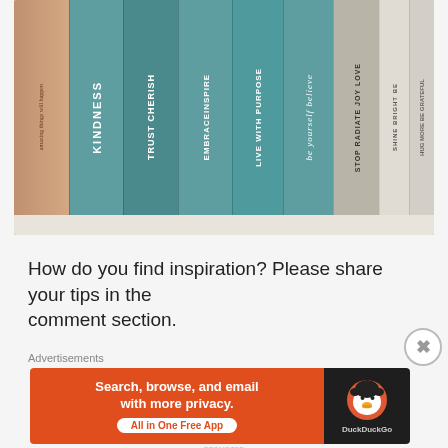[Figure (photo): Photo of decorative book spines lined up on a shelf. The books have teal/turquoise covers with inspirational words printed on their spines including: KINDNESS, TRUST, CHERISH, EMBRACE, INSPIRE, LIVE WITH PURPOSE, 'be yourself', BELIEVE, STOP, RADIATE JOY, LOVE, SHINE BRIGHT, BE GRATEFUL, HUG MORE. There is also a floral decorated book on the far left. The books rest on a white shelf surface.]
How do you find inspiration? Please share your tips in the comment section.
Advertisements
[Figure (screenshot): DuckDuckGo advertisement banner. Left side has orange background with text: 'Search, browse, and email with more privacy. All in One Free App'. Right side has dark background with DuckDuckGo duck logo and 'DuckDuckGo' text.]